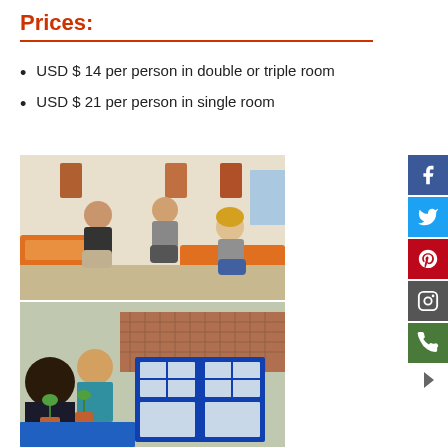Prices:
USD $ 14 per person in double or triple room
USD $ 21 per person in single room
[Figure (photo): Three young women sitting on beds with orange bedding in a hostel room]
[Figure (photo): People sitting at a table outdoors near a blue-windowed building with terracotta roof tiles]